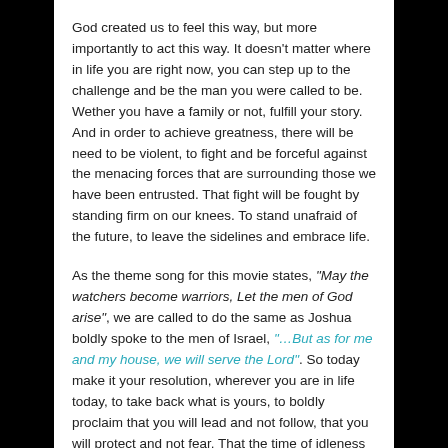God created us to feel this way, but more importantly to act this way. It doesn't matter where in life you are right now, you can step up to the challenge and be the man you were called to be. Wether you have a family or not, fulfill your story. And in order to achieve greatness, there will be need to be violent, to fight and be forceful against the menacing forces that are surrounding those we have been entrusted. That fight will be fought by standing firm on our knees. To stand unafraid of the future, to leave the sidelines and embrace life.
As the theme song for this movie states, "May the watchers become warriors, Let the men of God arise", we are called to do the same as Joshua boldly spoke to the men of Israel, "…But as for me and my house, we will serve the Lord". So today make it your resolution, wherever you are in life today, to take back what is yours, to boldly proclaim that you will lead and not follow, that you will protect and not fear. That the time of idleness is over and that your legacy will not be the same, because